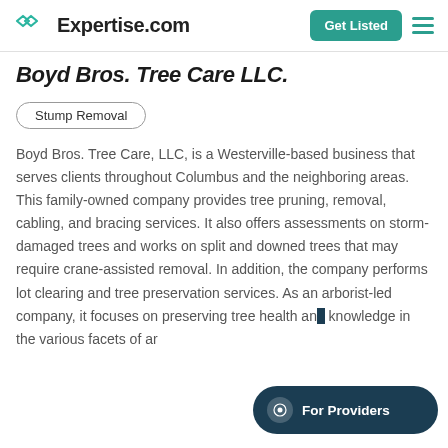Expertise.com
Boyd Bros. Tree Care LLC.
Stump Removal
Boyd Bros. Tree Care, LLC, is a Westerville-based business that serves clients throughout Columbus and the neighboring areas. This family-owned company provides tree pruning, removal, cabling, and bracing services. It also offers assessments on storm-damaged trees and works on split and downed trees that may require crane-assisted removal. In addition, the company performs lot clearing and tree preservation services. As an arborist-led company, it focuses on preserving tree health and knowledge in the various facets of ar...